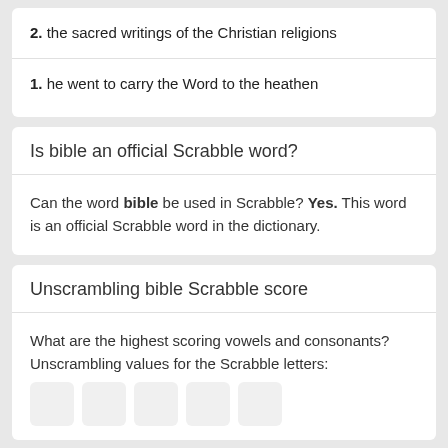2. the sacred writings of the Christian religions
1. he went to carry the Word to the heathen
Is bible an official Scrabble word?
Can the word bible be used in Scrabble? Yes. This word is an official Scrabble word in the dictionary.
Unscrambling bible Scrabble score
What are the highest scoring vowels and consonants? Unscrambling values for the Scrabble letters: